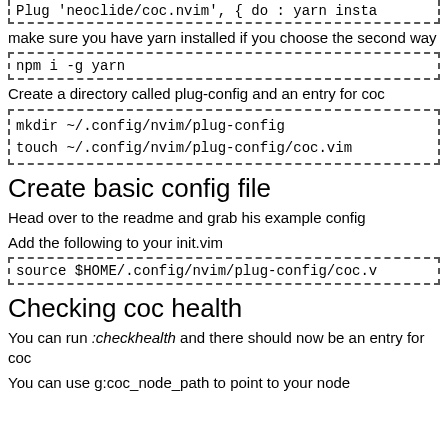Plug 'neoclide/coc.nvim', { do : yarn inst...
make sure you have yarn installed if you choose the second way
npm i -g yarn
Create a directory called plug-config and an entry for coc
mkdir ~/.config/nvim/plug-config
touch ~/.config/nvim/plug-config/coc.vim
Create basic config file
Head over to the readme and grab his example config
Add the following to your init.vim
source $HOME/.config/nvim/plug-config/coc.v
Checking coc health
You can run :checkhealth and there should now be an entry for coc
You can use g:coc_node_path to point to your node